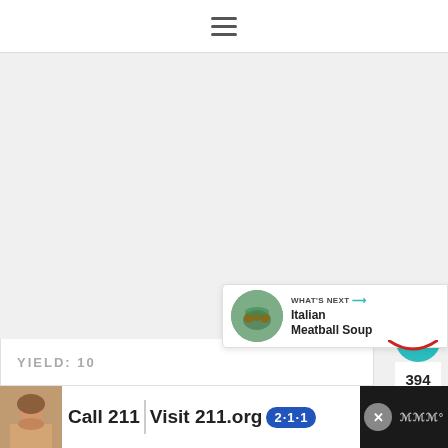≡ (hamburger menu icon)
[Figure (photo): Large image area, mostly light gray/blank (food photo not loaded), occupying main content area]
394
[Figure (infographic): WHAT'S NEXT → Italian Meatball Soup thumbnail and label on right side]
YIELD: 10
[Figure (infographic): Advertisement banner: child photo, Call 211 | Visit 211.org with 2-1-1 badge logo]